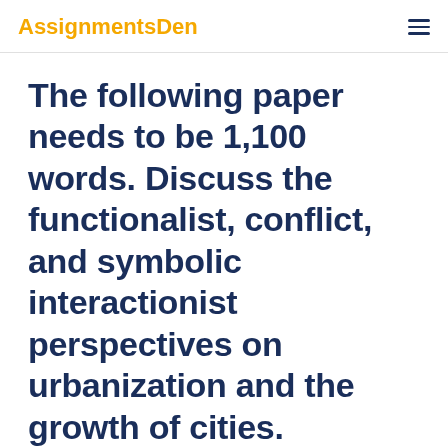AssignmentsDen
The following paper needs to be 1,100 words. Discuss the functionalist, conflict, and symbolic interactionist perspectives on urbanization and the growth of cities.
The following paper needs to be 1,100 words. Discuss the functionalist, conflict, and symbolic